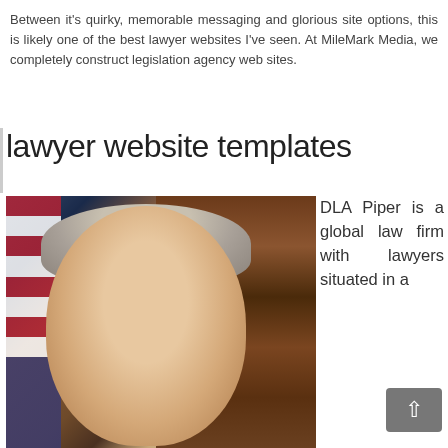Between it's quirky, memorable messaging and glorious site options, this is likely one of the best lawyer websites I've seen. At MileMark Media, we completely construct legislation agency web sites.
lawyer website templates
[Figure (photo): Portrait photo of a middle-aged man in a suit, smiling, with an American flag to his left and a bookshelf with law books in the background.]
DLA Piper is a global law firm with lawyers situated in a